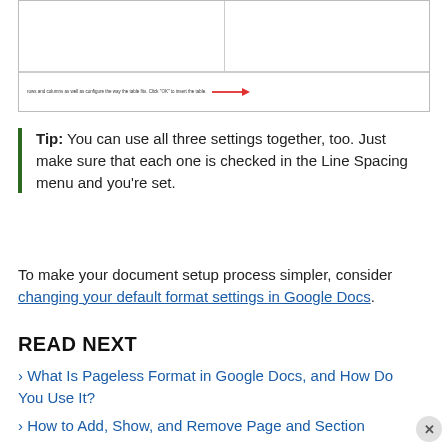[Figure (screenshot): Screenshot of a dialog box showing table insert options with two panels, small descriptive text, and a red arrow pointing from the left panel text to the right panel text.]
Tip: You can use all three settings together, too. Just make sure that each one is checked in the Line Spacing menu and you're set.
To make your document setup process simpler, consider changing your default format settings in Google Docs.
READ NEXT
› What Is Pageless Format in Google Docs, and How Do You Use It?
› How to Add, Show, and Remove Page and Section